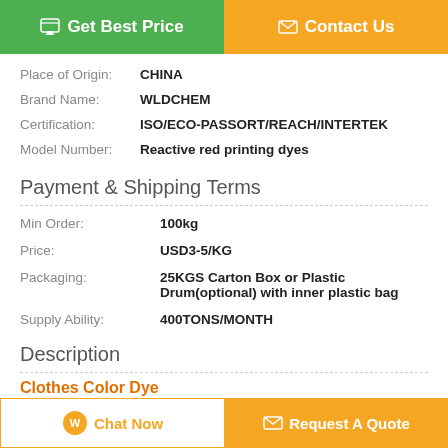[Figure (other): Two action buttons: 'Get Best Price' (green) and 'Contact Us' (orange)]
Place of Origin: CHINA
Brand Name: WLDCHEM
Certification: ISO/ECO-PASSORT/REACH/INTERTEK
Model Number: Reactive red printing dyes
Payment & Shipping Terms
Min Order: 100kg
Price: USD3-5/KG
Packaging: 25KGS Carton Box or Plastic Drum(optional) with inner plastic bag
Supply Ability: 400TONS/MONTH
Description
Clothes Color Dye
[Figure (other): Two bottom action buttons: 'Chat Now' (white/orange outline) and 'Request A Quote' (orange)]